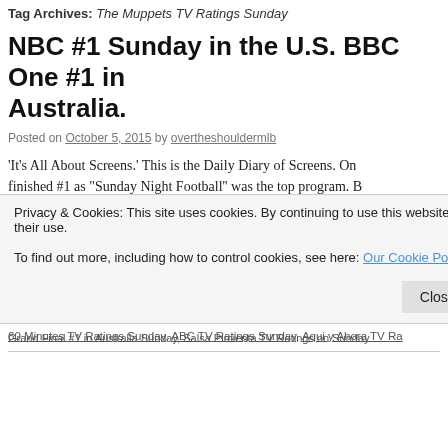Tag Archives: The Muppets TV Ratings Sunday
NBC #1 Sunday in the U.S. BBC One #1 in Australia.
Posted on October 5, 2015 by overtheshouldermlb
'It's All About Screens.' This is the Daily Diary of Screens. On finished #1 as 'Sunday Night Football'' was the top program. B Come Dancing' was the top … Continue reading →
Posted in Audience Analysis, Audience Behavior, Audience Management, Bro TV Ratings in the UK, Broadcast TV Ratings in US, Cable TV Ratings, Cinem Direct, Hispanic TV Ratings, Late Night TV Ratings, Media, Media Analysis, M By, Music To Read overtheshouldermedia by, Sunday Night TV Ratings, Tele Ratings, Today In TV History, Uncategorized, Weekend Box Office | Tagged 4 60 Minutes TV Ratings Sunday, ABC TV Ratings Sunday, Aqui y Ahora TV Ra
Privacy & Cookies: This site uses cookies. By continuing to use this website, you agree to their use.
To find out more, including how to control cookies, see here: Our Cookie Policy
Close and accept
Grand Final #1 in Australia Sunday, Salsa Pimienta TV Ratings on Sunda